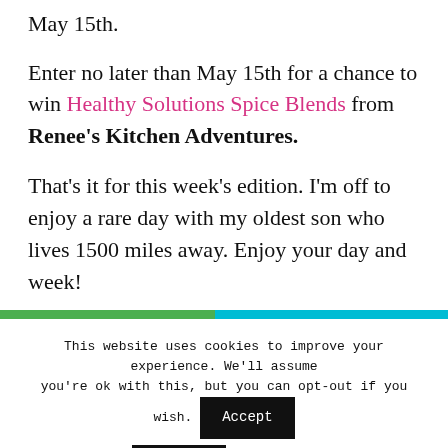May 15th.
Enter no later than May 15th for a chance to win Healthy Solutions Spice Blends from Renee's Kitchen Adventures.
That's it for this week's edition.  I'm off to enjoy a rare day with my oldest son who lives 1500 miles away.  Enjoy your day and week!
[Figure (other): Horizontal two-tone divider bar: left portion green, right portion teal/cyan]
This website uses cookies to improve your experience. We'll assume you're ok with this, but you can opt-out if you wish.
Accept
Reject
Read More